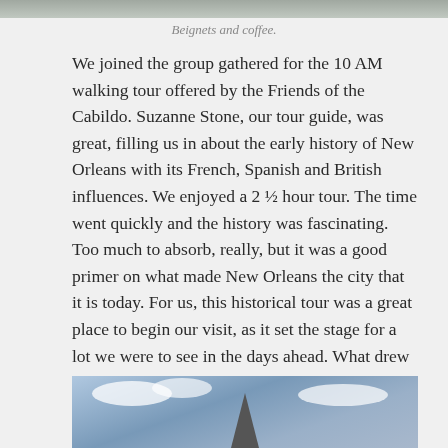[Figure (photo): Top portion of a photo, appears to be beignets and coffee, cropped showing only the very bottom strip]
Beignets and coffee.
We joined the group gathered for the 10 AM walking tour offered by the Friends of the Cabildo. Suzanne Stone, our tour guide, was great, filling us in about the early history of New Orleans with its French, Spanish and British influences. We enjoyed a 2 ½ hour tour. The time went quickly and the history was fascinating. Too much to absorb, really, but it was a good primer on what made New Orleans the city that it is today. For us, this historical tour was a great place to begin our visit, as it set the stage for a lot we were to see in the days ahead. What drew us to New Orleans was our interest in learning about the history, the architecture and the culture of the place, and this tour touched on all of that.
[Figure (photo): Bottom portion of a photo showing a church steeple/spire rising into a blue sky with clouds]